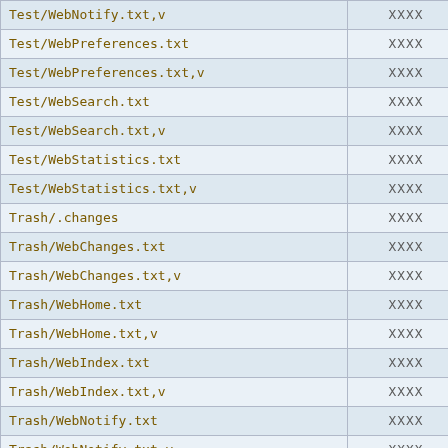| File | Value |
| --- | --- |
| Test/WebNotify.txt,v | XXXX |
| Test/WebPreferences.txt | XXXX |
| Test/WebPreferences.txt,v | XXXX |
| Test/WebSearch.txt | XXXX |
| Test/WebSearch.txt,v | XXXX |
| Test/WebStatistics.txt | XXXX |
| Test/WebStatistics.txt,v | XXXX |
| Trash/.changes | XXXX |
| Trash/WebChanges.txt | XXXX |
| Trash/WebChanges.txt,v | XXXX |
| Trash/WebHome.txt | XXXX |
| Trash/WebHome.txt,v | XXXX |
| Trash/WebIndex.txt | XXXX |
| Trash/WebIndex.txt,v | XXXX |
| Trash/WebNotify.txt | XXXX |
| Trash/WebNotify.txt,v | XXXX |